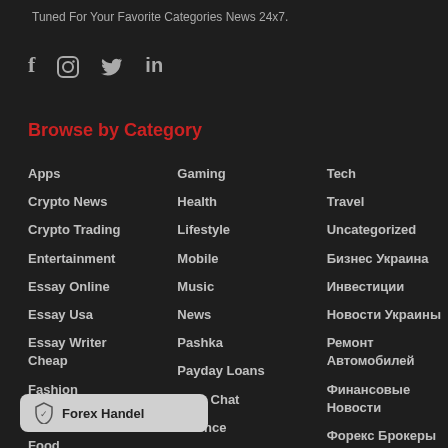Tuned For Your Favorite Categories News 24x7.
[Figure (infographic): Social media icons: Facebook, Instagram, Twitter, LinkedIn]
Browse by Category
Apps
Crypto News
Crypto Trading
Entertainment
Essay Online
Essay Usa
Essay Writer Cheap
Fashion
FinTech
Food
Gaming
Health
Lifestyle
Mobile
Music
News
Pashka
Payday Loans
Porn Chat
Science
Software Development
Tech
Travel
Uncategorized
Бизнес Украина
Инвестиции
Новости Украины
Ремонт Автомобилей
Финансовые Новости
Форекс Брокеры
Forex Handel